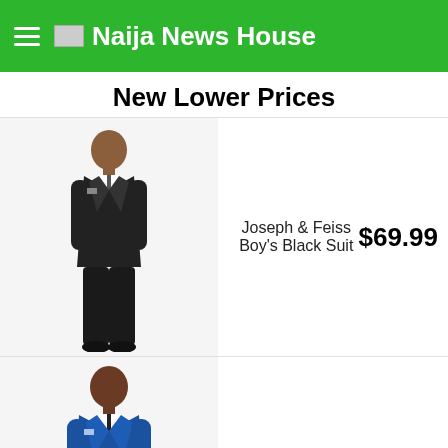Naija News House
New Lower Prices
[Figure (photo): Boy wearing Joseph & Feiss black suit, full body shot on white background]
Joseph & Feiss Boy's Black Suit   $69.99
[Figure (photo): Man wearing Calvin Klein blue suit, full body shot on white background]
Calvin Klein Blue Suit   $219.99
Abuja-Kaduna Train Bombing: To Release Abductees, This Is What We Want – Bandits Finally Reveals Demand To FG